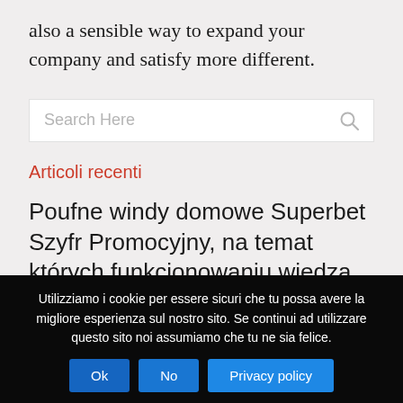also a sensible way to expand your company and satisfy more different.
Search Here
Articoli recenti
Poufne windy domowe Superbet Szyfr Promocyjny, na temat których funkcjonowaniu wiedzą
Utilizziamo i cookie per essere sicuri che tu possa avere la migliore esperienza sul nostro sito. Se continui ad utilizzare questo sito noi assumiamo che tu ne sia felice.
Ok  No  Privacy policy